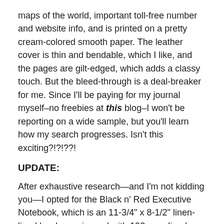maps of the world, important toll-free number and website info, and is printed on a pretty cream-colored smooth paper. The leather cover is thin and bendable, which I like, and the pages are gilt-edged, which adds a classy touch. But the bleed-through is a deal-breaker for me. Since I'll be paying for my journal myself–no freebies at this blog–I won't be reporting on a wide sample, but you'll learn how my search progresses. Isn't this exciting?!?!??!
UPDATE:
After exhaustive research—and I'm not kidding you—I opted for the Black n' Red Executive Notebook, which is an 11-3/4" x 8-1/2" linen-lined hardcover journal with 192 gray-lined pages, 33 lines per page. These have sewn bindings and the pages show—at least with a Mont Blanc fine nib and my favorite Levenger amethyst ink—